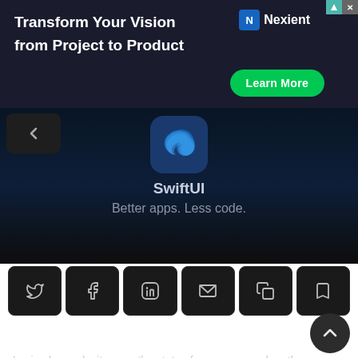[Figure (screenshot): Advertisement banner for Nexient: 'Transform Your Vision from Project to Product' with a green 'Learn More' button]
[Figure (screenshot): SwiftUI promotional image showing Swift logo icon on dark background with text 'SwiftUI' and 'Better apps. Less code.']
[Figure (screenshot): Social sharing/action row with six icon buttons: Twitter, Facebook, LinkedIn, Email, Copy, Bookmark]
SceneStorage
In simple words, it saves the state of your app so when the app is killed or switched it comes back to where you were before, same goes for the data, it stays the same.